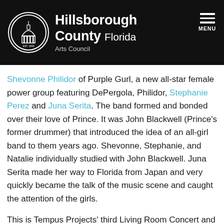Hillsborough County Florida Arts Council
Shevonne Philidor of Purple Gurl, a new all-star female power group featuring DePergola, Philidor, Stephanie Perez and Juna Serita. The band formed and bonded over their love of Prince. It was John Blackwell (Prince's former drummer) that introduced the idea of an all-girl band to them years ago. Shevonne, Stephanie, and Natalie individually studied with John Blackwell. Juna Serita made her way to Florida from Japan and very quickly became the talk of the music scene and caught the attention of the girls.
This is Tempus Projects' third Living Room Concert and is a part of our ongoing efforts to collaborate across disciplines